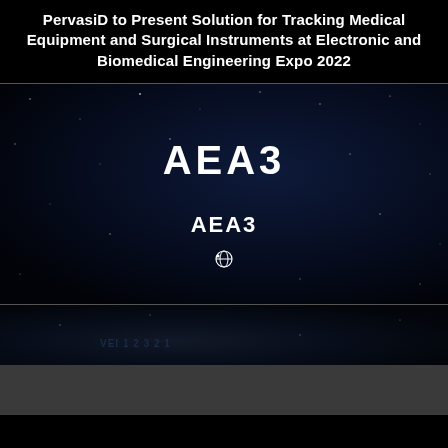PervasID to Present Solution for Tracking Medical Equipment and Surgical Instruments at Electronic and Biomedical Engineering Expo 2022
[Figure (logo): Dark blue starfield background with AEA3 logo displayed twice — once in a large stylized font and once in a smaller bold font — along with a small globe icon beneath]
[Figure (photo): Dark gray/charcoal rectangular image section at the bottom of the page]